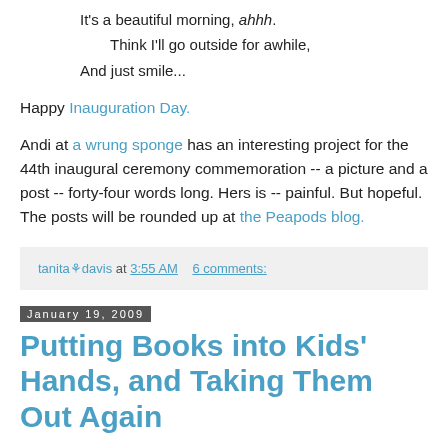It's a beautiful morning, ahhh.
    Think I'll go outside for awhile,
And just smile...
Happy Inauguration Day.
Andi at a wrung sponge has an interesting project for the 44th inaugural ceremony commemoration -- a picture and a post -- forty-four words long. Hers is -- painful. But hopeful. The posts will be rounded up at the Peapods blog.
tanita davis at 3:55 AM   6 comments:
January 19, 2009
Putting Books into Kids' Hands, and Taking Them Out Again
If you're a member of SCBWI, take a gander at your latest issue of the Bulletin--not only is there a great article from our fabulous interviewee, Elizabeth Wein, but there's also a